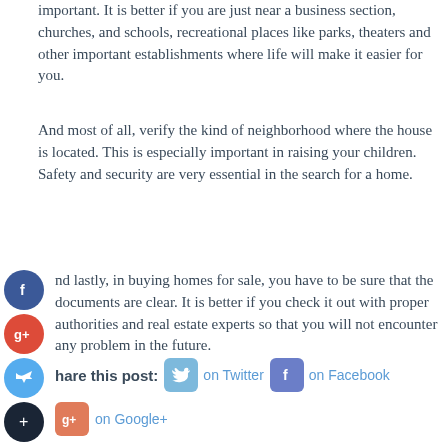important. It is better if you are just near a business section, churches, and schools, recreational places like parks, theaters and other important establishments where life will make it easier for you.
And most of all, verify the kind of neighborhood where the house is located. This is especially important in raising your children. Safety and security are very essential in the search for a home.
And lastly, in buying homes for sale, you have to be sure that the documents are clear. It is better if you check it out with proper authorities and real estate experts so that you will not encounter any problem in the future.
[Figure (infographic): Social sharing buttons: Facebook (blue circle), Google+ (red circle), Twitter (blue circle), Add/Plus (dark circle) on left side, and Share this post row with Twitter, Facebook, Google+ buttons]